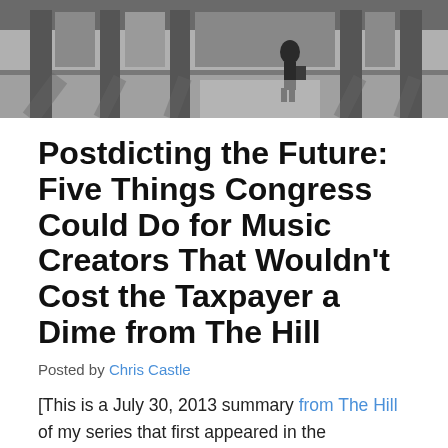[Figure (photo): Black and white street photo showing a person walking on a sidewalk with large pillars and a building facade in the background.]
Postdicting the Future: Five Things Congress Could Do for Music Creators That Wouldn't Cost the Taxpayer a Dime from The Hill
Posted by Chris Castle
[This is a July 30, 2013 summary from The Hill of my series that first appeared in the Huffington Post on July 26, 2013–lets see how I did now that music is all modern and chrome.]